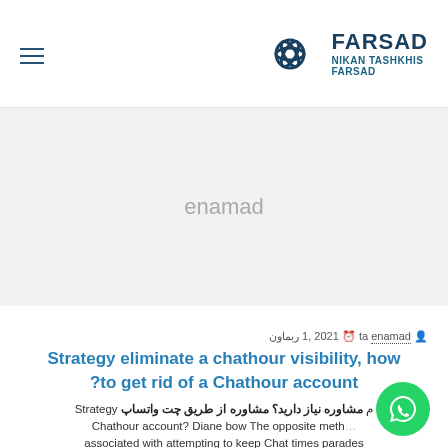[Figure (logo): FARSAD NIKAN TASHKHIS FARSAD logo with circular geometric icon and text]
enamad
at enamad  نوامبر 1, 2021
Strategy eliminate a chathour visibility, how ?to get rid of a Chathour account
Strategy مشاوره نیاز دارید؟ مشاوره از طریق چت واتساپ Chathour account? Diane bow The opposite method associated with attempting to keep Chat times parades [...]